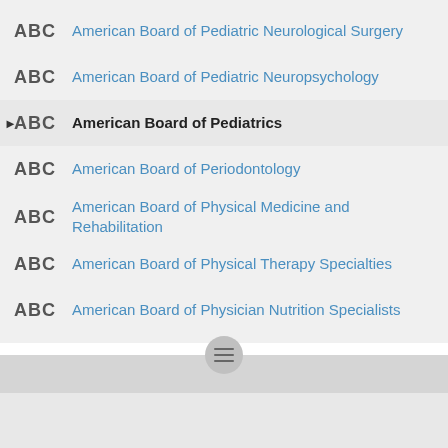American Board of Pediatric Neurological Surgery
American Board of Pediatric Neuropsychology
American Board of Pediatrics
American Board of Periodontology
American Board of Physical Medicine and Rehabilitation
American Board of Physical Therapy Specialties
American Board of Physician Nutrition Specialists